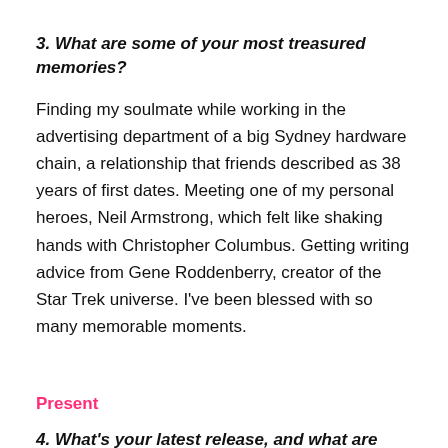3. What are some of your most treasured memories?
Finding my soulmate while working in the advertising department of a big Sydney hardware chain, a relationship that friends described as 38 years of first dates. Meeting one of my personal heroes, Neil Armstrong, which felt like shaking hands with Christopher Columbus. Getting writing advice from Gene Roddenberry, creator of the Star Trek universe. I've been blessed with so many memorable moments.
Present
4. What's your latest release, and what are you currently working on?